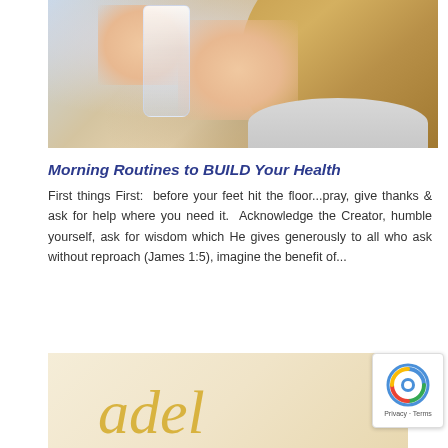[Figure (photo): Woman with blonde hair holding a glass of water up to her face, wearing a light grey top, photographed close up]
Morning Routines to BUILD Your Health
First things First:  before your feet hit the floor...pray, give thanks & ask for help where you need it.  Acknowledge the Creator, humble yourself, ask for wisdom which He gives generously to all who ask without reproach (James 1:5), imagine the benefit of...
[Figure (photo): Partial view of a second article image with a warm cream/yellow background and decorative cursive script text in gold/yellow color]